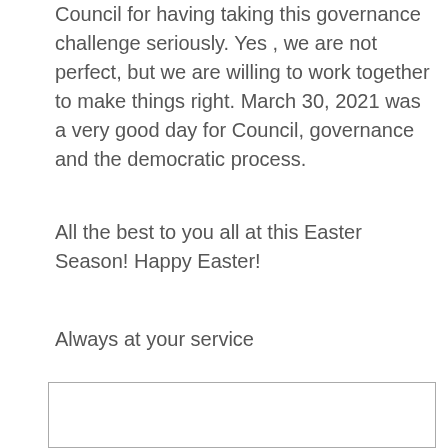Council for having taking this governance challenge seriously. Yes , we are not perfect, but we are willing to work together to make things right. March 30, 2021 was a very good day for Council, governance  and the democratic process.
All the best to you all at this Easter Season! Happy Easter!
Always at your service
[Figure (other): Empty bordered rectangle, likely a signature or image placeholder box]